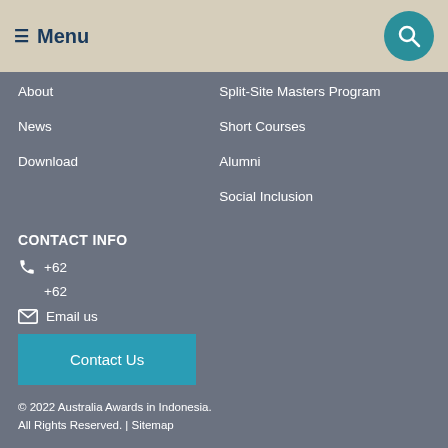≡ Menu
About
Split-Site Masters Program
News
Short Courses
Download
Alumni
Social Inclusion
CONTACT INFO
+62
+62
Email us
Contact Us
© 2022 Australia Awards in Indonesia. All Rights Reserved. | Sitemap